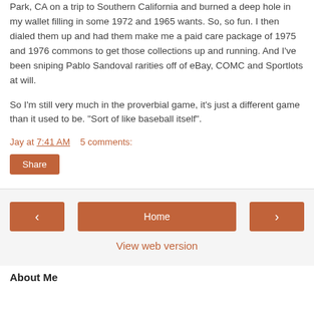Park, CA on a trip to Southern California and burned a deep hole in my wallet filling in some 1972 and 1965 wants. So, so fun. I then dialed them up and had them make me a paid care package of 1975 and 1976 commons to get those collections up and running. And I've been sniping Pablo Sandoval rarities off of eBay, COMC and Sportlots at will.
So I'm still very much in the proverbial game, it's just a different game than it used to be. "Sort of like baseball itself".
Jay at 7:41 AM   5 comments:
Share
Home
View web version
About Me